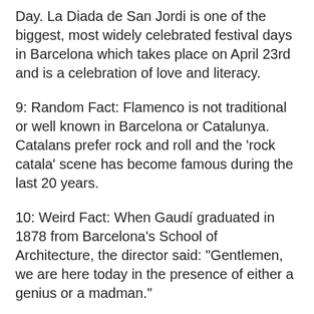Day. La Diada de San Jordi is one of the biggest, most widely celebrated festival days in Barcelona which takes place on April 23rd and is a celebration of love and literacy.
9: Random Fact: Flamenco is not traditional or well known in Barcelona or Catalunya. Catalans prefer rock and roll and the 'rock catala' scene has become famous during the last 20 years.
10: Weird Fact: When Gaudí graduated in 1878 from Barcelona's School of Architecture, the director said: "Gentlemen, we are here today in the presence of either a genius or a madman."
11: It is said that Catalans are not very generous and they are always counting money, so much so, that their traditional dance, Sardana, also involves